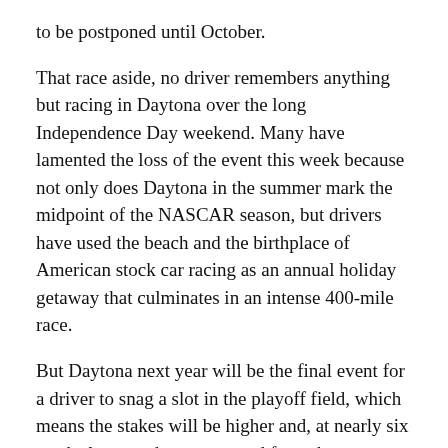to be postponed until October.
That race aside, no driver remembers anything but racing in Daytona over the long Independence Day weekend. Many have lamented the loss of the event this week because not only does Daytona in the summer mark the midpoint of the NASCAR season, but drivers have used the beach and the birthplace of American stock car racing as an annual holiday getaway that culminates in an intense 400-mile race.
But Daytona next year will be the final event for a driver to snag a slot in the playoff field, which means the stakes will be higher and, at nearly six weeks later, perhaps protected from the unpredictable Florida weather.
“I think traditions are important and as a sport we stay true to a lot of traditions, but I also think if you don’t change tradition, you’ll always be where you’re